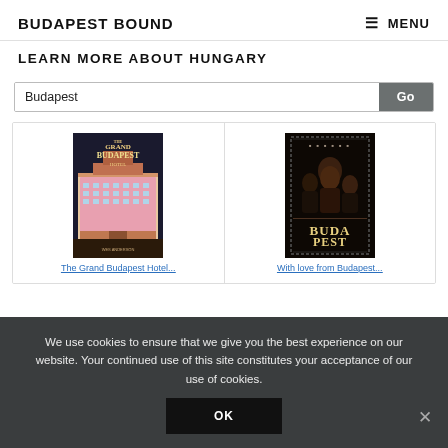BUDAPEST BOUND | ≡ MENU
LEARN MORE ABOUT HUNGARY
Budapest [search input] Go
[Figure (photo): Movie poster for The Grand Budapest Hotel]
[Figure (photo): Movie poster for a Budapest-related film with stamp border]
We use cookies to ensure that we give you the best experience on our website. Your continued use of this site constitutes your acceptance of our use of cookies.
OK